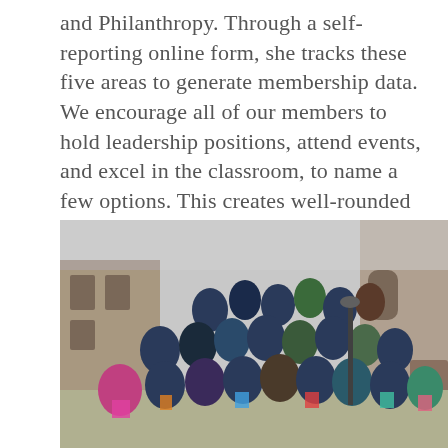and Philanthropy. Through a self-reporting online form, she tracks these five areas to generate membership data. We encourage all of our members to hold leadership positions, attend events, and excel in the classroom, to name a few options. This creates well-rounded and active chapter members.
[Figure (photo): A large group of young women (sorority/dance team members) posing outdoors in front of a stone collegiate building. They are wearing matching dark shirts with colorful accessories and making hand signs. Some are wearing tutus and colorful leggings.]